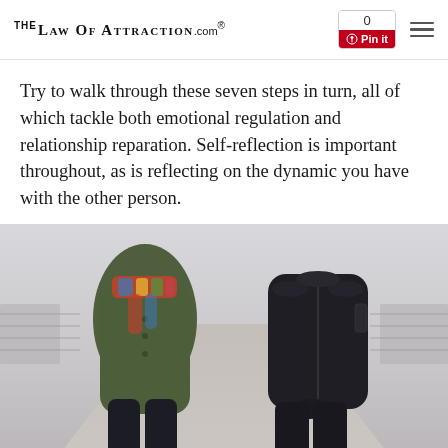TheLawOfAttraction.com® | 0 Pin it | [menu]
Try to walk through these seven steps in turn, all of which tackle both emotional regulation and relationship reparation. Self-reflection is important throughout, as is reflecting on the dynamic you have with the other person.
[Figure (photo): Two people standing apart on a path/boardwalk, viewed from the waist down. One person (left) wears an olive/army green coat and a colorful scarf with dark pants. The other person (right) wears an all-black outfit with a bomber jacket and dark pants. The setting appears to be an outdoor boardwalk or pier with a blurred background.]